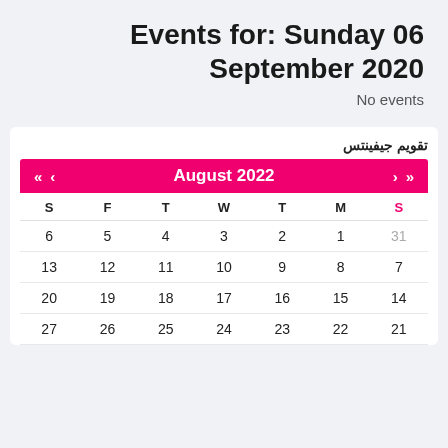Events for: Sunday 06 September 2020
No events
تقويم جيفينتس
| S | F | T | W | T | M | S |
| --- | --- | --- | --- | --- | --- | --- |
| 6 | 5 | 4 | 3 | 2 | 1 | 31 |
| 13 | 12 | 11 | 10 | 9 | 8 | 7 |
| 20 | 19 | 18 | 17 | 16 | 15 | 14 |
| 27 | 26 | 25 | 24 | 23 | 22 | 21 |